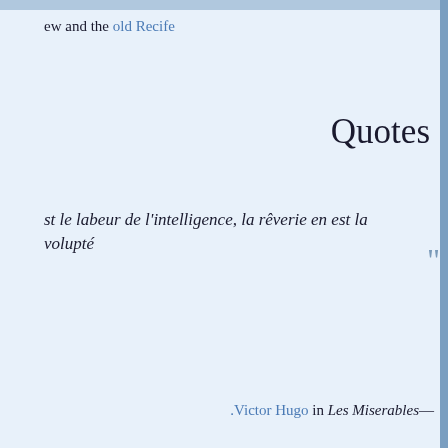ew and the old Recife
Quotes
st le labeur de l'intelligence, la rêverie en est la volupté
.Victor Hugo in Les Miserables—
he pride of this woman, who resists every seduction, the s of his own passion as well as the rapture of the senses
.José de Alencar, in Senhora—
s die Wahrheit zu finden; jener liegt auf der Oberfläche, ht in der Tiefe, danach zu forschen ist nicht jedermanns .Sache
.Johann Wolfgang von Goethe in Maximen und Reflexionen—